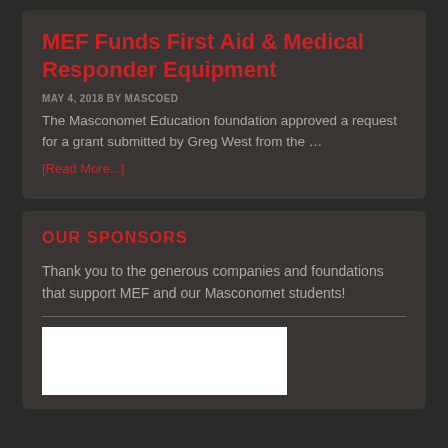MEF Funds First Aid & Medical Responder Equipment
MAY 4, 2018 BY MASCOED
The Masconomet Education foundation approved a request for a grant submitted by Greg West from the …
[Read More...]
OUR SPONSORS
Thank you to the generous companies and foundations that support MEF and our Masconomet students!
[Figure (photo): Sponsor logo image, white background box]